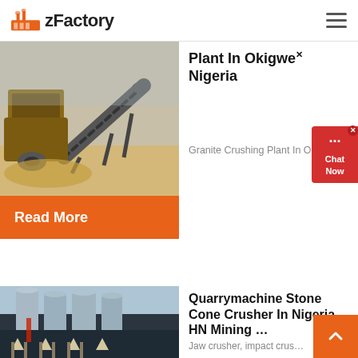zFactory
[Figure (photo): Industrial granite crushing plant machinery with conveyor belts and processing equipment on a dusty site]
Plant In Okigwe Nigeria
Granite Crushing Plant In Ok...
Read More
[Figure (photo): Industrial silos and factory building for quarry machine stone cone crusher]
Quarrymachine Stone Cone Crusher In Nigeria-HN Mining ...
Jaw crusher, impact crusher, or c...